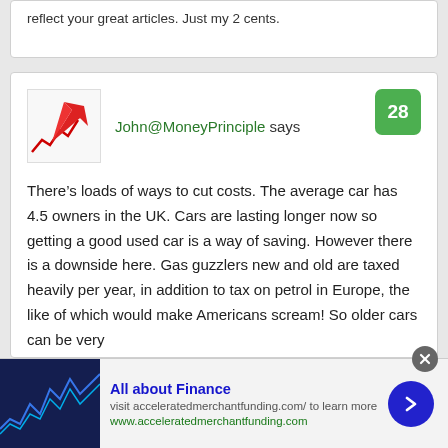reflect your great articles. Just my 2 cents.
John@MoneyPrinciple says
There’s loads of ways to cut costs. The average car has 4.5 owners in the UK. Cars are lasting longer now so getting a good used car is a way of saving. However there is a downside here. Gas guzzlers new and old are taxed heavily per year, in addition to tax on petrol in Europe, the like of which would make Americans scream! So older cars can be very
All about Finance
visit acceleratedmerchantfunding.com/ to learn more
www.acceleratedmerchantfunding.com